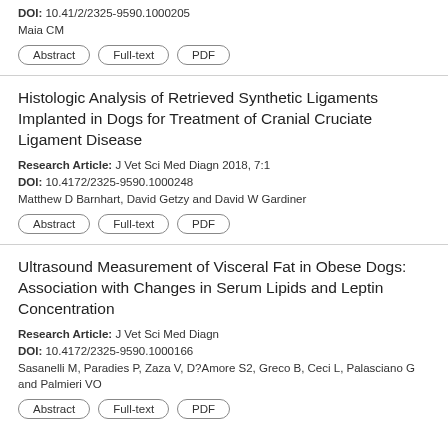DOI: 10.4172/2325-9590.1000205
Maia CM
Abstract | Full-text | PDF
Histologic Analysis of Retrieved Synthetic Ligaments Implanted in Dogs for Treatment of Cranial Cruciate Ligament Disease
Research Article: J Vet Sci Med Diagn 2018, 7:1
DOI: 10.4172/2325-9590.1000248
Matthew D Barnhart, David Getzy and David W Gardiner
Abstract | Full-text | PDF
Ultrasound Measurement of Visceral Fat in Obese Dogs: Association with Changes in Serum Lipids and Leptin Concentration
Research Article: J Vet Sci Med Diagn
DOI: 10.4172/2325-9590.1000166
Sasanelli M, Paradies P, Zaza V, D?Amore S2, Greco B, Ceci L, Palasciano G and Palmieri VO
Abstract | Full-text | PDF